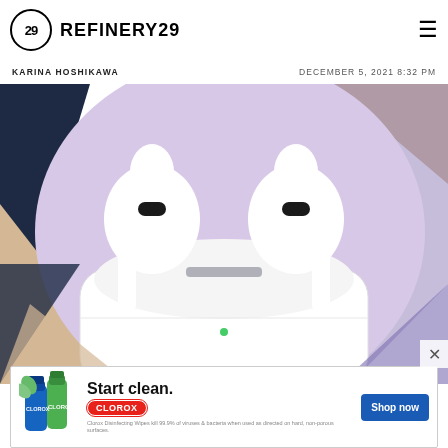REFINERY29
KARINA HOSHIKAWA    DECEMBER 5, 2021 8:32 PM
[Figure (photo): Apple AirPods Pro in open white charging case, displayed against a pastel purple and colorful geometric background]
[Figure (photo): Advertisement banner: Clorox products image on left, 'Start clean. CLOROX Shop now' text and button on right, with fine print below]